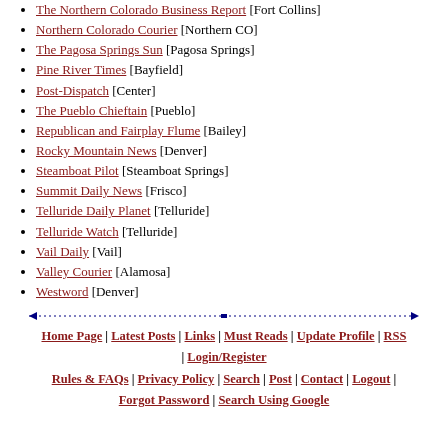The Northern Colorado Business Report [Fort Collins]
Northern Colorado Courier [Northern CO]
The Pagosa Springs Sun [Pagosa Springs]
Pine River Times [Bayfield]
Post-Dispatch [Center]
The Pueblo Chieftain [Pueblo]
Republican and Fairplay Flume [Bailey]
Rocky Mountain News [Denver]
Steamboat Pilot [Steamboat Springs]
Summit Daily News [Frisco]
Telluride Daily Planet [Telluride]
Telluride Watch [Telluride]
Vail Daily [Vail]
Valley Courier [Alamosa]
Westword [Denver]
Home Page | Latest Posts | Links | Must Reads | Update Profile | RSS | Login/Register | Rules & FAQs | Privacy Policy | Search | Post | Contact | Logout | Forgot Password | Search Using Google